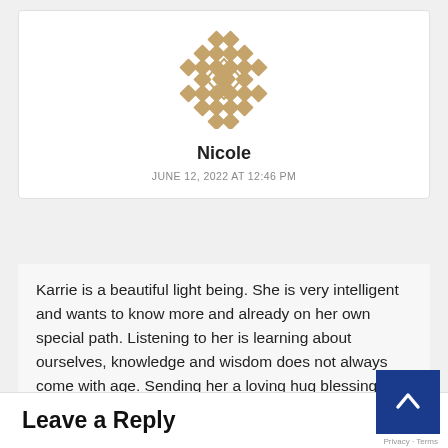[Figure (illustration): Decorative geometric avatar icon with diamond/cross pattern in tan/gold color]
Nicole
JUNE 12, 2022 AT 12:46 PM
Karrie is a beautiful light being. She is very intelligent and wants to know more and already on her own special path. Listening to her is learning about ourselves, knowledge and wisdom does not always come with age. Sending her a loving hug blessing all that she will blossom into.
Leave a Reply